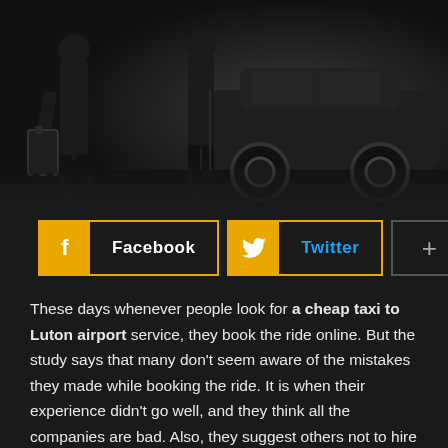[Figure (photo): Dark photo showing a person with luggage near a black car, overhead view, dark/moody lighting.]
[Figure (infographic): Social sharing buttons: Facebook (yellow icon, white text), Twitter (yellow bird icon, blue text), and a grey Plus button.]
These days whenever people look for a cheap taxi to Luton airport service, they book the ride online. But the study says that many don't seem aware of the mistakes they made while booking the ride. It is when their experience didn't go well, and they think all the companies are bad. Also, they suggest others not to hire the service.
Keep in mind that not all the companies are the same; some didn't care about the customer. But there are many who make sure to serve the client best no matter what. Whether you hire...